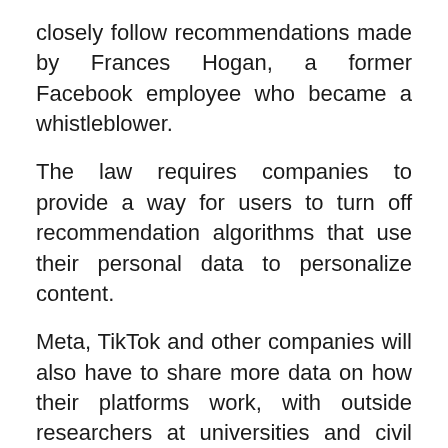closely follow recommendations made by Frances Hogan, a former Facebook employee who became a whistleblower.
The law requires companies to provide a way for users to turn off recommendation algorithms that use their personal data to personalize content.
Meta, TikTok and other companies will also have to share more data on how their platforms work, with outside researchers at universities and civil society groups.
Firms are required to conduct an annual risk assessment report, reviewed by an external